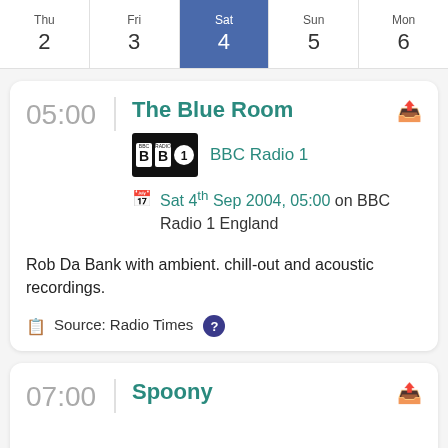| Thu | Fri | Sat | Sun | Mon |
| --- | --- | --- | --- | --- |
| 2 | 3 | 4 | 5 | 6 |
05:00
The Blue Room
[Figure (logo): BBC Radio 1 logo — white text on black background with circular '1' badge]
BBC Radio 1
Sat 4th Sep 2004, 05:00 on BBC Radio 1 England
Rob Da Bank with ambient. chill-out and acoustic recordings.
Source: Radio Times
07:00
Spoony